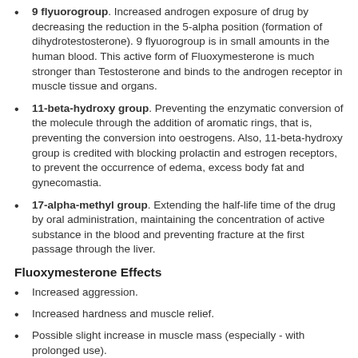9 flyuorogroup. Increased androgen exposure of drug by decreasing the reduction in the 5-alpha position (formation of dihydrotestosterone). 9 flyuorogroup is in small amounts in the human blood. This active form of Fluoxymesterone is much stronger than Testosterone and binds to the androgen receptor in muscle tissue and organs.
11-beta-hydroxy group. Preventing the enzymatic conversion of the molecule through the addition of aromatic rings, that is, preventing the conversion into oestrogens. Also, 11-beta-hydroxy group is credited with blocking prolactin and estrogen receptors, to prevent the occurrence of edema, excess body fat and gynecomastia.
17-alpha-methyl group. Extending the half-life time of the drug by oral administration, maintaining the concentration of active substance in the blood and preventing fracture at the first passage through the liver.
Fluoxymesterone Effects
Increased aggression.
Increased hardness and muscle relief.
Possible slight increase in muscle mass (especially - with prolonged use).